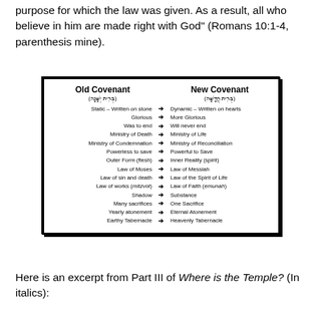purpose for which the law was given. As a result, all who believe in him are made right with God” (Romans 10:1-4, parenthesis mine).
[Figure (infographic): Comparison table of Old Covenant vs New Covenant with Hebrew subtitles and 14 contrasting pairs connected by arrows: Static–Written on stone → Dynamic–Written on hearts; Glorious → More Glorious; Was to end → Will never end; Ministry of Death → Ministry of Life; Ministry of Condemnation → Ministry of Reconciliation; Powerless to save → Powerful to Save; Outer Form (flesh) → Inner Reality (spirit); Law of Moses → Law of Messiah; Law of sin and death → Law of the Spirit of Life; Law of works (mitzvot) → Law of Faith (emunah); Shadow → Substance; Many sacrifices → One Sacrifice; Yearly atonement → Eternal Atonement; Earthy Tabernacle → Heavenly Tabernacle]
Here is an excerpt from Part III of Where is the Temple? (In italics):